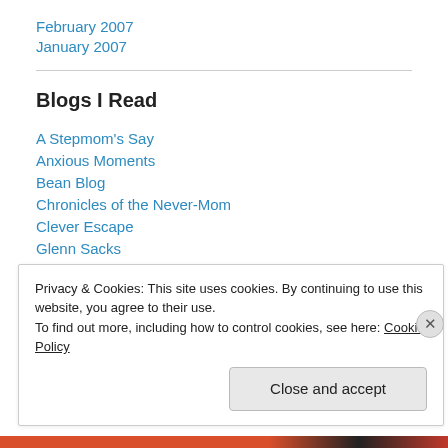February 2007
January 2007
Blogs I Read
A Stepmom's Say
Anxious Moments
Bean Blog
Chronicles of the Never-Mom
Clever Escape
Glenn Sacks
Good Intentions
Privacy & Cookies: This site uses cookies. By continuing to use this website, you agree to their use.
To find out more, including how to control cookies, see here: Cookie Policy
Close and accept